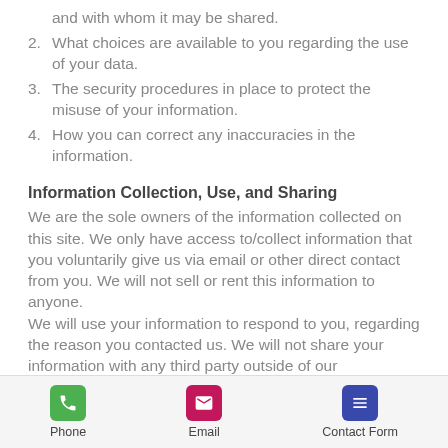and with whom it may be shared.
2. What choices are available to you regarding the use of your data.
3. The security procedures in place to protect the misuse of your information.
4. How you can correct any inaccuracies in the information.
Information Collection, Use, and Sharing
We are the sole owners of the information collected on this site. We only have access to/collect information that you voluntarily give us via email or other direct contact from you. We will not sell or rent this information to anyone.
We will use your information to respond to you, regarding the reason you contacted us. We will not share your information with any third party outside of our organization, other than as necessary
Phone | Email | Contact Form